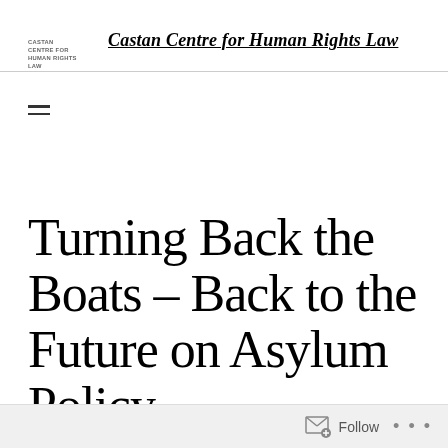CASTAN CENTRE FOR HUMAN RIGHTS LAW | Castan Centre for Human Rights Law
[Figure (other): Hamburger menu icon (two horizontal lines)]
Turning Back the Boats – Back to the Future on Asylum Policy
Follow ...